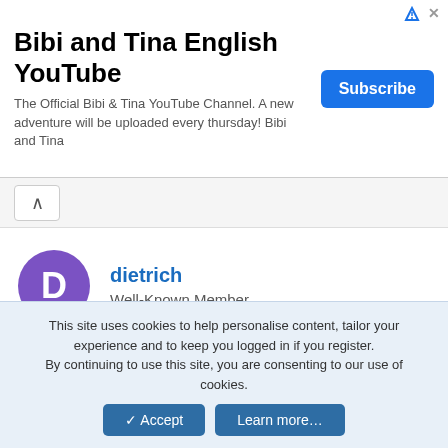[Figure (other): Advertisement banner for 'Bibi and Tina English YouTube' channel with a Subscribe button]
Bibi and Tina English YouTube
The Official Bibi & Tina YouTube Channel. A new adventure will be uploaded every thursday! Bibi and Tina
dietrich
Well-Known Member
Apr 15, 2005
#3
Thanks for the missing dates. Can anyone tell me if they remember a sketch missing from the list? I know it's unlikely, but maybe we can fill in the gaps. 🐸
This site uses cookies to help personalise content, tailor your experience and to keep you logged in if you register. By continuing to use this site, you are consenting to our use of cookies.